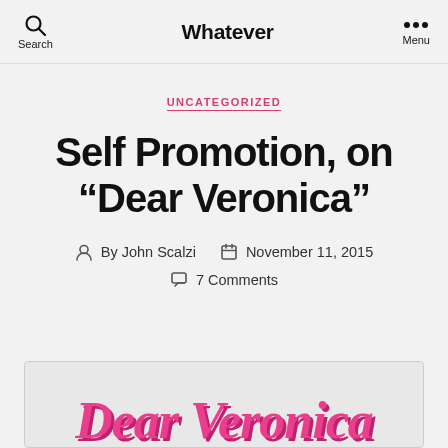Whatever
UNCATEGORIZED
Self Promotion, on “Dear Veronica”
By John Scalzi   November 11, 2015   7 Comments
[Figure (illustration): Partial view of 'Dear Veronica' logo in pink script lettering at the bottom of the page]